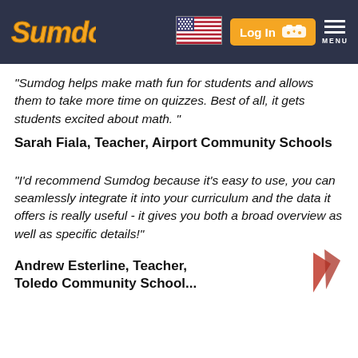Sumdog — Log In — MENU
“Sumdog helps make math fun for students and allows them to take more time on quizzes. Best of all, it gets students excited about math. ”
Sarah Fiala, Teacher, Airport Community Schools
“I’d recommend Sumdog because it's easy to use, you can seamlessly integrate it into your curriculum and the data it offers is really useful - it gives you both a broad overview as well as specific details!”
Andrew Esterline, Teacher, Toledo Community School...